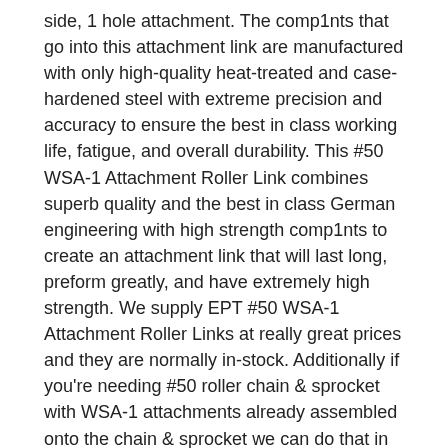side, 1 hole attachment. The comp1nts that go into this attachment link are manufactured with only high-quality heat-treated and case-hardened steel with extreme precision and accuracy to ensure the best in class working life, fatigue, and overall durability. This #50 WSA-1 Attachment Roller Link combines superb quality and the best in class German engineering with high strength comp1nts to create an attachment link that will last long, preform greatly, and have extremely high strength. We supply EPT #50 WSA-1 Attachment Roller Links at really great prices and they are normally in-stock. Additionally if you're needing #50 roller chain & sprocket with WSA-1 attachments already assembled onto the chain & sprocket we can do that in any configuration needed, and within an industry leading assembly time. This attachment fully meets all ANSI standards so it will assemble easily onto #50 roller chain & sprocket and mesh correctly with ANSI #50 sprockets. We also offer a full line of high quality